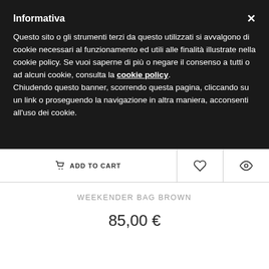Informativa
Questo sito o gli strumenti terzi da questo utilizzati si avvalgono di cookie necessari al funzionamento ed utili alle finalità illustrate nella cookie policy. Se vuoi saperne di più o negare il consenso a tutti o ad alcuni cookie, consulta la cookie policy. Chiudendo questo banner, scorrendo questa pagina, cliccando su un link o proseguendo la navigazione in altra maniera, acconsenti all'uso dei cookie.
ADD TO CART
WEEKENDER BAG BROWN
85,00 €